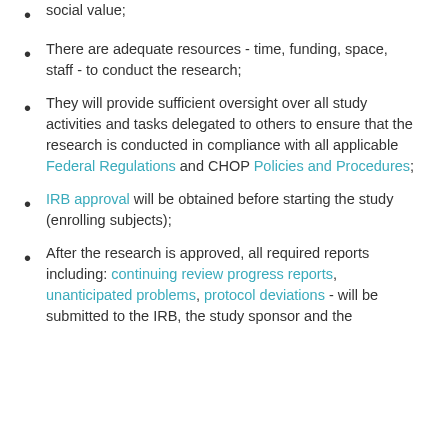social value;
There are adequate resources - time, funding, space, staff - to conduct the research;
They will provide sufficient oversight over all study activities and tasks delegated to others to ensure that the research is conducted in compliance with all applicable Federal Regulations and CHOP Policies and Procedures;
IRB approval will be obtained before starting the study (enrolling subjects);
After the research is approved, all required reports including: continuing review progress reports, unanticipated problems, protocol deviations - will be submitted to the IRB, the study sponsor and the